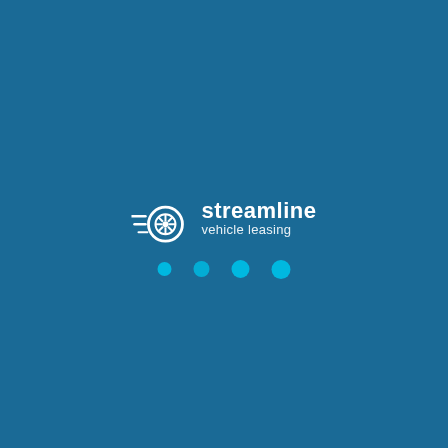[Figure (logo): Streamline Vehicle Leasing logo: a white tire/wheel icon with speed lines to the left, followed by the text 'streamline' in bold white and 'vehicle leasing' in smaller white text beneath it. Four cyan/turquoise dots of increasing size appear below the logo on a dark teal/blue background.]